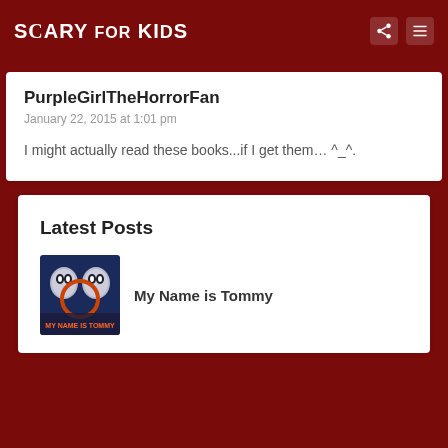SCARY FOR KIDS
PurpleGirlTheHorrorFan
January 22, 2015 at 1:01 pm
I might actually read these books...if I get them… ^_^.
Latest Posts
My Name is Tommy